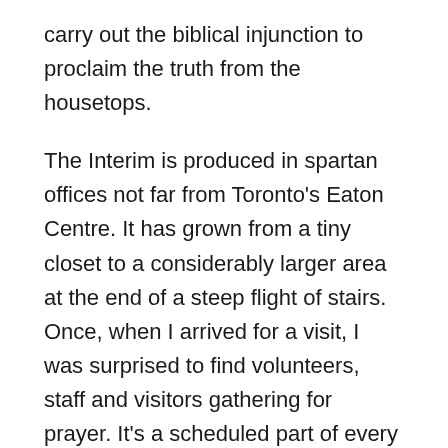carry out the biblical injunction to proclaim the truth from the housetops.
The Interim is produced in spartan offices not far from Toronto's Eaton Centre. It has grown from a tiny closet to a considerably larger area at the end of a steep flight of stairs. Once, when I arrived for a visit, I was surprised to find volunteers, staff and visitors gathering for prayer. It's a scheduled part of every work day. Sometimes, the Interim and Campaign Life Coalition office spaces seem like an upstairs version of the early Christian catacombs – perfect for inclusion in Kurelek's series of Northern Nativity paintings.
It's been said that where evil abounds, God raises up